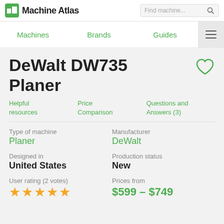Machine Atlas | Find machine...
Machines | Brands | Guides
DeWalt DW735 Planer
Helpful resources
Price Comparison
Questions and Answers (3)
Type of machine
Planer
Manufacturer
DeWalt
Designed in
United States
Production status
New
User rating (2 votes)
★★★★★
Prices from
$599 – $749